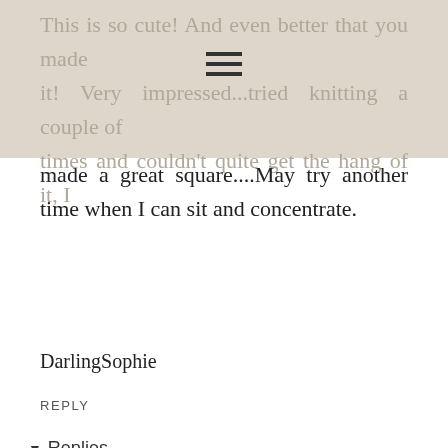This is so cute! And even better that you made it! Very impressed...tried knitting a couple of times and couldn't quite get the hang of it, I made a great square....May try another time when I can sit and concentrate.
DarlingSophie
REPLY
▾ Replies
burkatron ✔ 19 February 2015 at 13:42
My sister tried to show me years ago but after 10 minutes I gave up- I don't think I was in the right frame of mind back then to actually sit and...